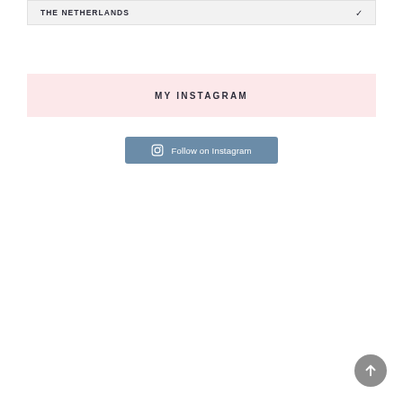THE NETHERLANDS
MY INSTAGRAM
Follow on Instagram